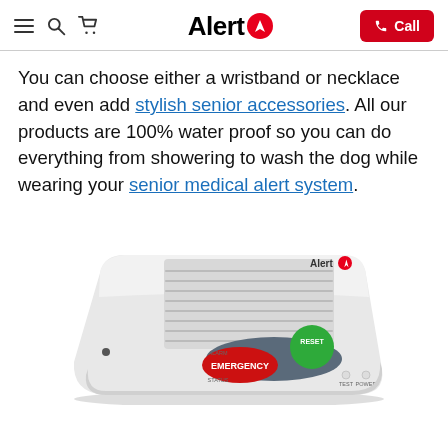Alert1 — Navigation header with hamburger menu, search, cart icons and Call button
You can choose either a wristband or necklace and even add stylish senior accessories. All our products are 100% water proof so you can do everything from showering to wash the dog while wearing your senior medical alert system.
[Figure (photo): Alert1 medical alert base station device — a white rectangular unit with ventilation grilles, a large red EMERGENCY button, a green RESET button, and indicator lights labeled ALARM, STATUS, TEST, POWER. The Alert1 logo is on the top right.]